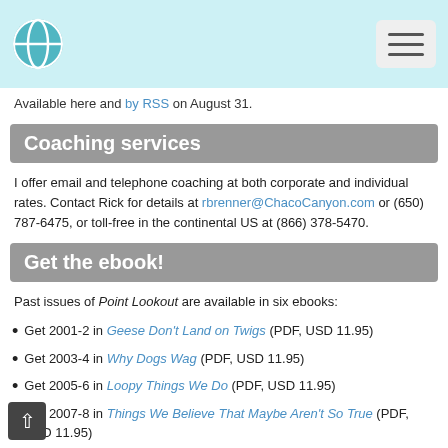Logo and navigation menu
Available here and by RSS on August 31.
Coaching services
I offer email and telephone coaching at both corporate and individual rates. Contact Rick for details at rbrenner@ChacoCanyon.com or (650) 787-6475, or toll-free in the continental US at (866) 378-5470.
Get the ebook!
Past issues of Point Lookout are available in six ebooks:
Get 2001-2 in Geese Don't Land on Twigs (PDF, USD 11.95)
Get 2003-4 in Why Dogs Wag (PDF, USD 11.95)
Get 2005-6 in Loopy Things We Do (PDF, USD 11.95)
Get 2007-8 in Things We Believe That Maybe Aren't So True (PDF, USD 11.95)
Get 2009-10 in The Questions Not Asked (PDF,